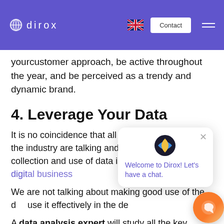dirox | Contact
yourcustomer approach, be active throughout the year, and be perceived as a trendy and dynamic brand.
4. Leverage Your Data
It is no coincidence that all the biggest players in the industry are talking and fighting about it: the collection and use of data is the new eldorado of digital business.
We are not talking about making good use of the data, use it effectively in the decision making process.
A data analysis expert will study all the key figures of online activity to make a complete diagnosis and draw the right conclusions: